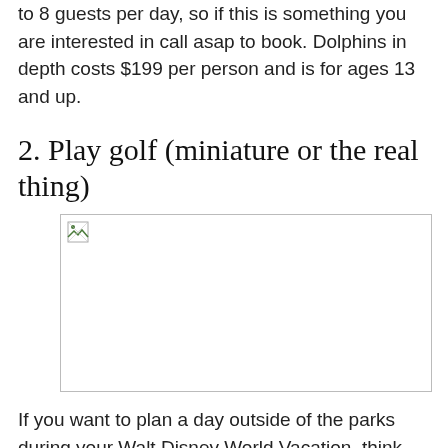to 8 guests per day, so if this is something you are interested in call asap to book. Dolphins in depth costs $199 per person and is for ages 13 and up.
2. Play golf (miniature or the real thing)
[Figure (photo): Broken/unloaded image placeholder for a golf-related photo]
If you want to plan a day outside of the parks during your Walt Disney World Vacation, think about spending the day playing golf. Disney has three 18-